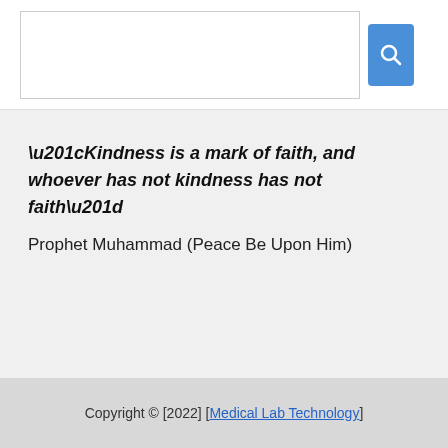[Figure (screenshot): Search input box with a blue search button containing a magnifying glass icon]
“Kindness is a mark of faith, and whoever has not kindness has not faith”
Prophet Muhammad (Peace Be Upon Him)
Copyright © [2022] [Medical Lab Technology]